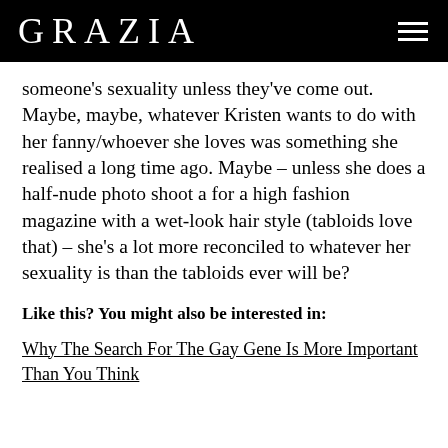GRAZIA
someone's sexuality unless they've come out. Maybe, maybe, whatever Kristen wants to do with her fanny/whoever she loves was something she realised a long time ago. Maybe – unless she does a half-nude photo shoot a for a high fashion magazine with a wet-look hair style (tabloids love that) – she's a lot more reconciled to whatever her sexuality is than the tabloids ever will be?
Like this? You might also be interested in:
Why The Search For The Gay Gene Is More Important Than You Think